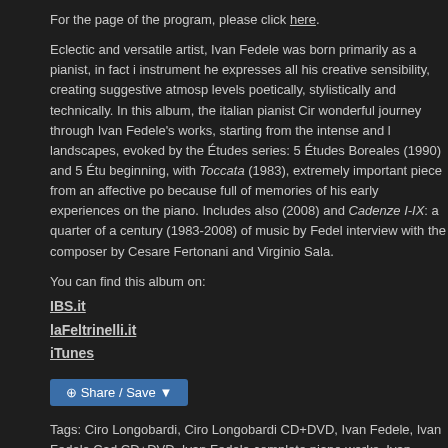For the page of the program, please click here.
Eclectic and versatile artist, Ivan Fedele was born primarily as a pianist, in fact i instrument he expresses all his creative sensibility, creating suggestive atmosp levels poetically, stylistically and technically. In this album, the italian pianist Cir wonderful journey through Ivan Fedele's works, starting from the intense and l landscapes, evoked by the Études series: 5 Études Boreales (1990) and 5 Étu beginning, with Toccata (1983), extremely important piece from an affective po because full of memories of his early experiences on the piano. Includes also (2008) and Cadenze I-IX: a quarter of a century (1983-2008) of music by Fede interview with the composer by Cesare Fertonani and Virginio Sala.
You can find this album on:
IBS.it
laFeltrinelli.it
iTunes
[Figure (other): Share / Save button widget]
Tags: Ciro Longobardi, Ciro Longobardi CD+DVD, Ivan Fedele, Ivan Fedele Cad CD+DVD, Ivan Fedele complete piano works, Ivan Fedele Etudes Australes, Ivai Ivan Fedele Limenmusic Black Line, Ivan Fedele Nachtmusik, ivan fedele Tocca contemporaine, Radio France